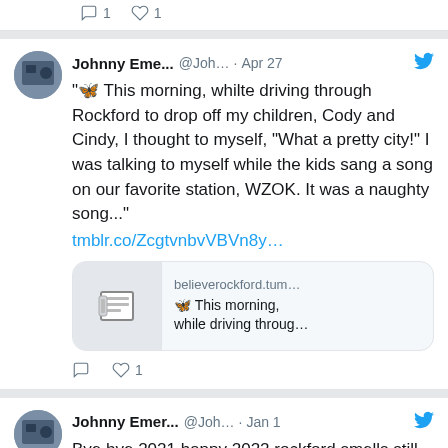Tweet partial top: reply icon, comment icon, 1 like
Johnny Eme... @Joh... · Apr 27 — "🦋 This morning, whilte driving through Rockford to drop off my children, Cody and Cindy, I thought to myself, "What a pretty city!" I was talking to myself while the kids sang a song on our favorite station, WZOK. It was a naughty song..." tmblr.co/ZcgtvnbvVBVn8y...
[Figure (screenshot): Link preview card showing believerockford.tum... domain and snippet: 🦋 This morning, while driving throug...]
❤ 1
Johnny Emer... @Joh... · Jan 1 — Bye bye 2021 happy 2022 rockford smells still New Year: Covid Update rkfdnews.com/bye-bye-2021-h...